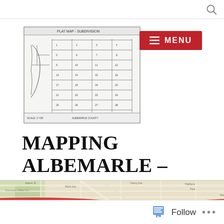[Figure (illustration): Blueprint/plat map showing subdivision lot lines and parcel boundaries in black and white line drawing style]
[Figure (other): Red button with hamburger menu icon and MENU text]
MAPPING ALBEMARLE – MAPPING CVILLE
[Figure (map): Street map of Charlottesville/Albemarle area showing roads, neighborhoods, and red highlighted buildings/areas near downtown Cville]
Follow ...